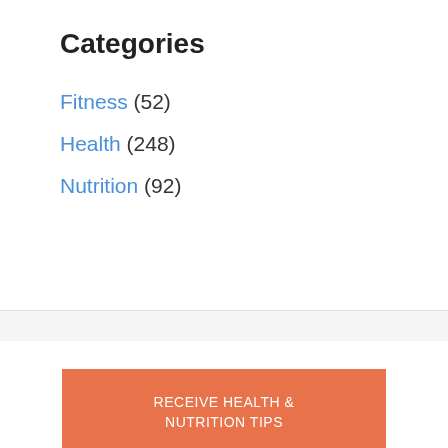Categories
Fitness (52)
Health (248)
Nutrition (92)
[Figure (infographic): Orange/coral banner with text 'RECEIVE HEALTH & NUTRITION TIPS' and large bold text 'STRAIGHT TO YOUR INBOX']